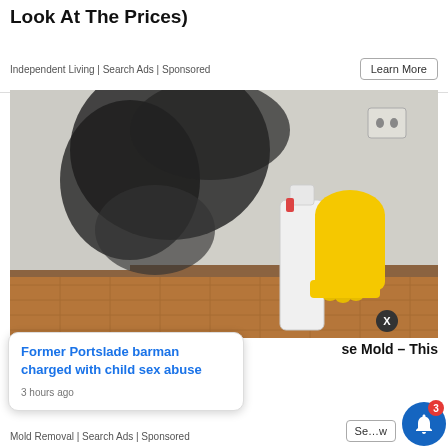Look At The Prices)
Independent Living | Search Ads | Sponsored
Learn More
[Figure (photo): Photo of a mold-covered wall corner in a room with parquet floor. A white spray bottle and yellow rubber cleaning glove are placed against the wall near the mold. An electrical outlet is visible on the upper right of the wall.]
X
se Mold – This
Former Portslade barman charged with child sex abuse
3 hours ago
Mold Removal | Search Ads | Sponsored
See More